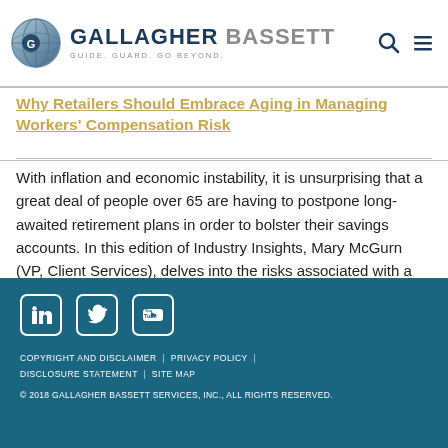Gallagher Bassett - Guide. Guard. Go Beyond.
Why Retailers Should Embrace Aging in Managing Workers' Compensation Risk
With inflation and economic instability, it is unsurprising that a great deal of people over 65 are having to postpone long-awaited retirement plans in order to bolster their savings accounts. In this edition of Industry Insights, Mary McGurn (VP, Client Services), delves into the risks associated with a rapidly retail aging workforce.
More >
COPYRIGHT AND DISCLAIMER | PRIVACY POLICY | DISCLOSURE STATEMENT | SITE MAP © 2018 GALLAGHER BASSETT SERVICES, INC., ALL RIGHTS RESERVED.